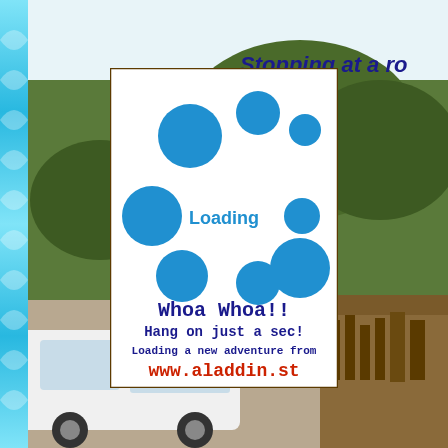[Figure (photo): Background photo showing a road stop scene with a white vehicle, trees, and market stalls; a decorative cyan/blue pattern strip on the left edge.]
Stopping at a ro
[Figure (infographic): Loading screen overlay box with brown border, white background, blue bubble circles of various sizes, 'Loading' text in blue, and footer text: 'Whoa Whoa!! Hang on just a sec! Loading a new adventure from www.aladdin.st']